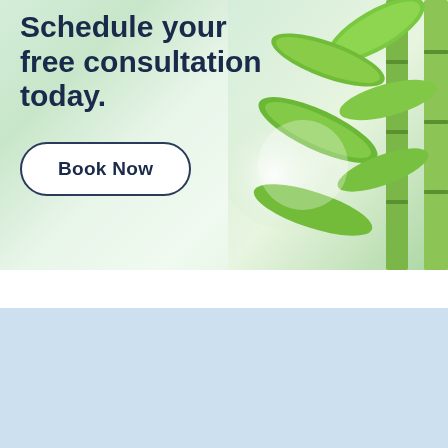[Figure (photo): Green bamboo plant with leaves on a light green gradient background]
Schedule your free consultation today.
Book Now
ELIMINATE STUBBORN UNWANTED FAT WITHOUT SURGERY